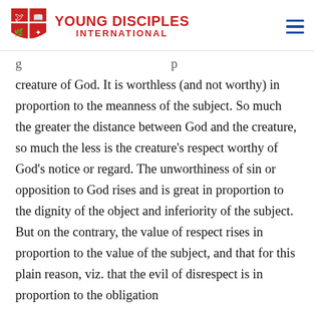YOUNG DISCIPLES INTERNATIONAL
creature of God. It is worthless (and not worthy) in proportion to the meanness of the subject. So much the greater the distance between God and the creature, so much the less is the creature's respect worthy of God's notice or regard. The unworthiness of sin or opposition to God rises and is great in proportion to the dignity of the object and inferiority of the subject. But on the contrary, the value of respect rises in proportion to the value of the subject, and that for this plain reason, viz. that the evil of disrespect is in proportion to the obligation